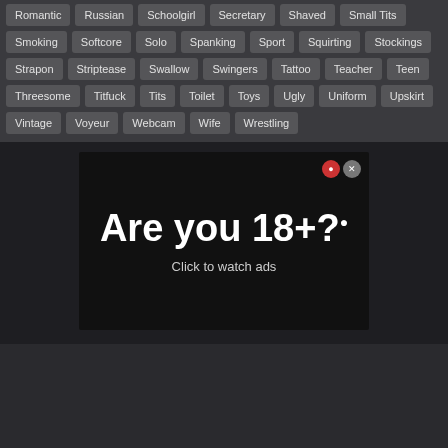Romantic
Russian
Schoolgirl
Secretary
Shaved
Small Tits
Smoking
Softcore
Solo
Spanking
Sport
Squirting
Stockings
Strapon
Striptease
Swallow
Swingers
Tattoo
Teacher
Teen
Threesome
Titfuck
Tits
Toilet
Toys
Ugly
Uniform
Upskirt
Vintage
Voyeur
Webcam
Wife
Wrestling
[Figure (screenshot): Ad banner with dark background showing 'Are you 18+?' in large bold white text and 'Click to watch ads' subtitle, with close button icons in top right corner]